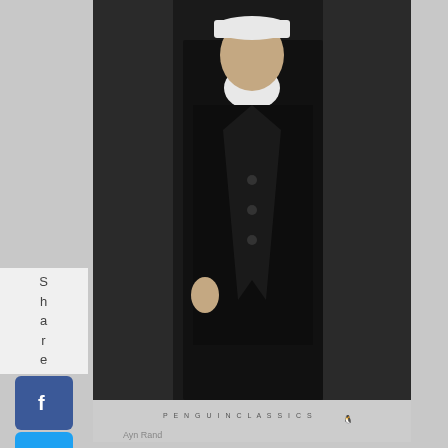[Figure (photo): Book cover of Atlas Shrugged Penguin Modern Classics edition, showing a stylized dark Art Deco illustration of a man in a black coat]
[Figure (other): Share sidebar with Facebook, Twitter, Tumblr, StumbleUpon, LinkedIn, Xing, Paw, and WhatsApp social share buttons]
Ayn Rand: Atlas Shrugged (Penguin Modern Classics)
A user called Theta9 on LibraryThing summed it up. "There are two novels that can change a bookish fourteen-year-old's life: Lord of the Rings and Atlas Shrugged. One is a childish fantasy that often engenders a lifelong obsession with its unbelievable heroes, leading to an emotionally stunted, socially crippled adulthood, unable to deal with the real world. The other, of course, involves orcs."
[Figure (photo): Partial view of another book cover at bottom of page]